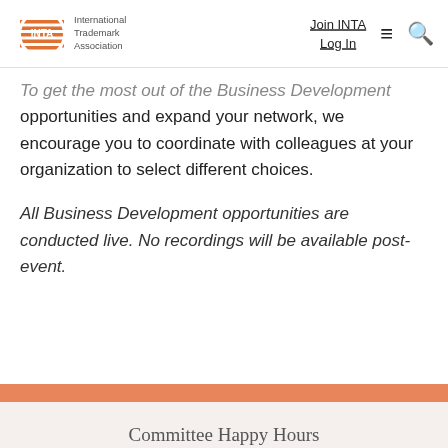INTA — International Trademark Association | Join INTA  Log In
To get the most out of the Business Development opportunities and expand your network, we encourage you to coordinate with colleagues at your organization to select different choices.
All Business Development opportunities are conducted live. No recordings will be available post-event.
Committee Happy Hours